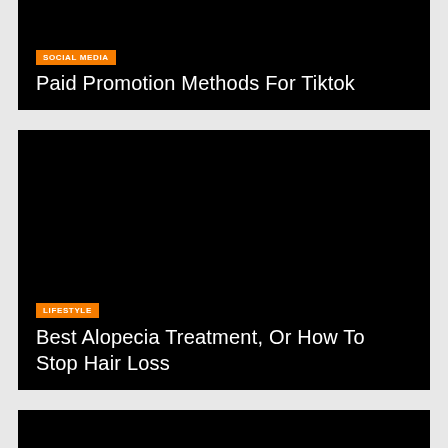[Figure (other): Black card with orange SOCIAL MEDIA badge and title text 'Paid Promotion Methods For Tiktok']
[Figure (other): Black card with orange LIFESTYLE badge and title text 'Best Alopecia Treatment, Or How To Stop Hair Loss']
[Figure (other): Black card partially visible at bottom of page]